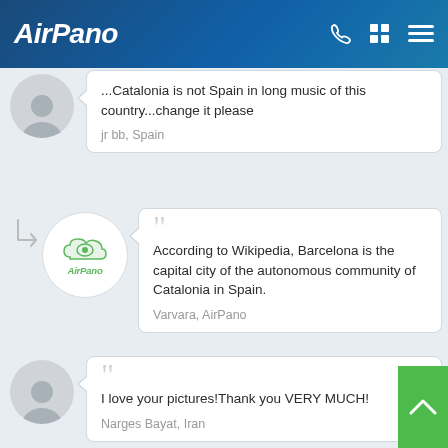AirPano
...Catalonia is not Spain in long music of this country...change it please
jr bb, Spain
According to Wikipedia, Barcelona is the capital city of the autonomous community of Catalonia in Spain.
Varvara, AirPano
I love your pictures!Thank you VERY MUCH!
Narges Bayat, Iran